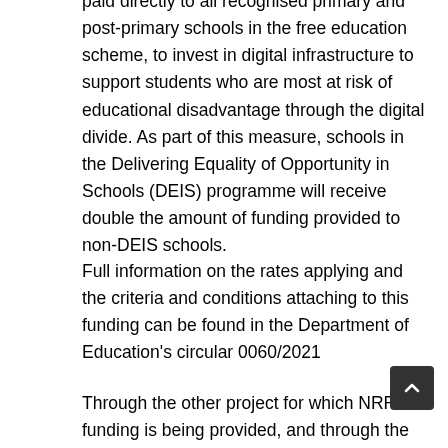paid directly to all recognised primary and post-primary schools in the free education scheme, to invest in digital infrastructure to support students who are most at risk of educational disadvantage through the digital divide. As part of this measure, schools in the Delivering Equality of Opportunity in Schools (DEIS) programme will receive double the amount of funding provided to non-DEIS schools.
Full information on the rates applying and the criteria and conditions attaching to this funding can be found in the Department of Education's circular 0060/2021
Through the other project for which NRRP funding is being provided, and through the National Broadband Plan Intervention Area implementation and commercial provision, all primary schools will be provided with high